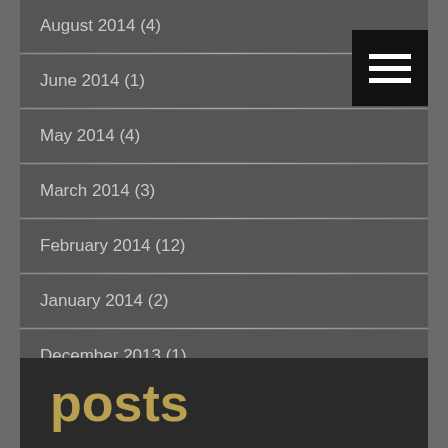August 2014 (4)
June 2014 (1)
May 2014 (4)
March 2014 (3)
February 2014 (12)
January 2014 (2)
December 2013 (1)
November 2013 (4)
posts